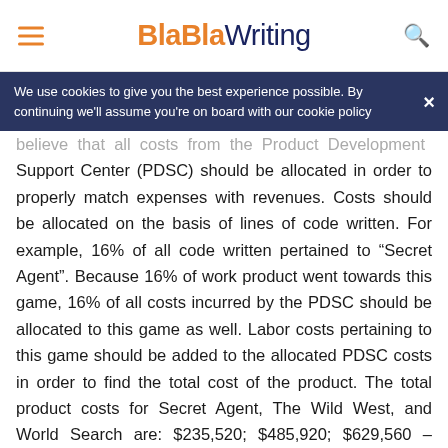BlaBlaWriting
We use cookies to give you the best experience possible. By continuing we'll assume you're on board with our cookie policy
believe that all costs from the Product Development Support Center (PDSC) should be allocated in order to properly match expenses with revenues. Costs should be allocated on the basis of lines of code written. For example, 16% of all code written pertained to “Secret Agent”. Because 16% of work product went towards this game, 16% of all costs incurred by the PDSC should be allocated to this game as well. Labor costs pertaining to this game should be added to the allocated PDSC costs in order to find the total cost of the product. The total product costs for Secret Agent, The Wild West, and World Search are: $235,520; $485,920; $629,560 – respectively. These estimates were developed using the methodology explained above (based on lines of code). The tables below will be outline the above calculations.